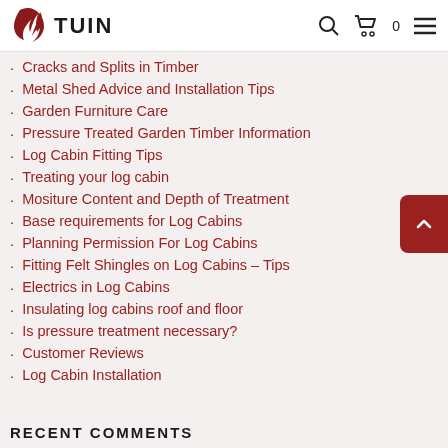TUIN
Cracks and Splits in Timber
Metal Shed Advice and Installation Tips
Garden Furniture Care
Pressure Treated Garden Timber Information
Log Cabin Fitting Tips
Treating your log cabin
Mositure Content and Depth of Treatment
Base requirements for Log Cabins
Planning Permission For Log Cabins
Fitting Felt Shingles on Log Cabins – Tips
Electrics in Log Cabins
Insulating log cabins roof and floor
Is pressure treatment necessary?
Customer Reviews
Log Cabin Installation
RECENT COMMENTS